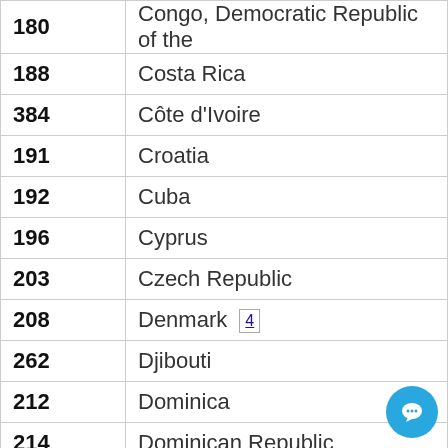| Code | Country |
| --- | --- |
| 180 | Congo, Democratic Republic of the |
| 188 | Costa Rica |
| 384 | Côte d'Ivoire |
| 191 | Croatia |
| 192 | Cuba |
| 196 | Cyprus |
| 203 | Czech Republic |
| 208 | Denmark 4 |
| 262 | Djibouti |
| 212 | Dominica |
| 214 | Dominican Republic |